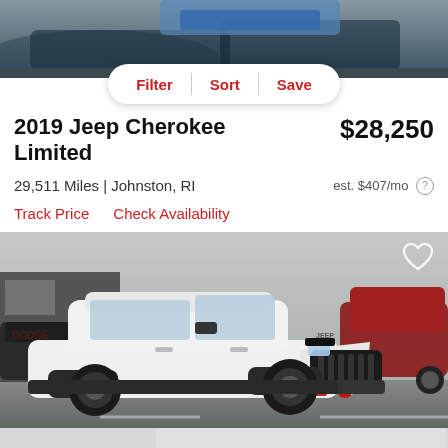[Figure (photo): Top portion of a car dealership lot photo, showing vehicles in background with dark blue/grey tones]
Filter | Sort | Save
2019 Jeep Cherokee Limited  $28,250
29,511 Miles | Johnston, RI  est. $407/mo
Track Price  Check Availability
[Figure (photo): White 2019 Jeep Cherokee photographed at a dealership lot. The vehicle faces forward-right, showing bold front grille design. Red Jeep badge visible. Other vehicles visible in background including a red SUV. A heart/save icon is in the top-right corner.]
[Figure (photo): Bottom portion showing a partially visible vehicle or page continuation, light grey background]